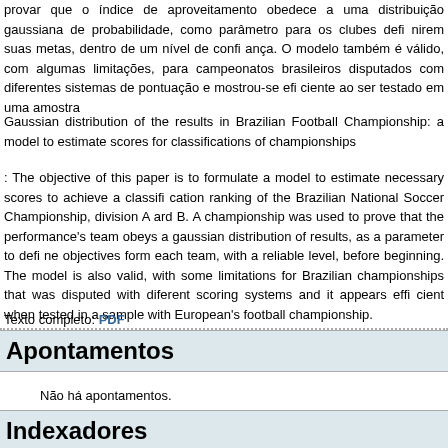provar que o índice de aproveitamento obedece a uma distribuição gaussiana de probabilidade, como parâmetro para os clubes defi nirem suas metas, dentro de um nível de confi ança. O modelo também é válido, com algumas limitações, para campeonatos brasileiros disputados com diferentes sistemas de pontuação e mostrou-se efi ciente ao ser testado em uma amostra
Gaussian distribution of the results in Brazilian Football Championship: a model to estimate scores for classifications of championships
: The objective of this paper is to formulate a model to estimate necessary scores to achieve a classifi cation ranking of the Brazilian National Soccer Championship, division A and B. A championship was used to prove that the performance's team obeys a gaussian distribution of results, as a parameter to defi ne objectives form each team, with a reliable level, before beginning. The model is also valid, with some limitations for Brazilian championships that was disputed with different scoring systems and it appears effi cient when tested in a sample with European's football championship.
Texto completo: PDF
Apontamentos
Não há apontamentos.
Indexadores